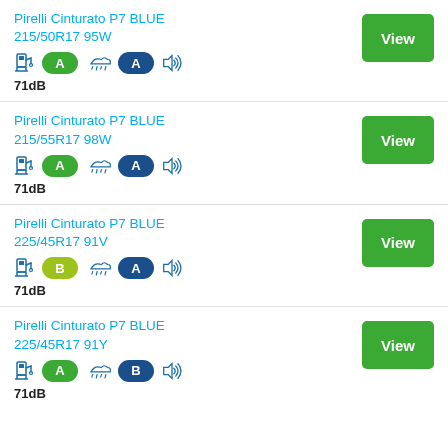Pirelli Cinturato P7 BLUE 215/50R17 95W, fuel A, wet A, 71dB
Pirelli Cinturato P7 BLUE 215/55R17 98W, fuel A, wet A, 71dB
Pirelli Cinturato P7 BLUE 225/45R17 91V, fuel B, wet A, 71dB
Pirelli Cinturato P7 BLUE 225/45R17 91Y, fuel A, wet B, 71dB